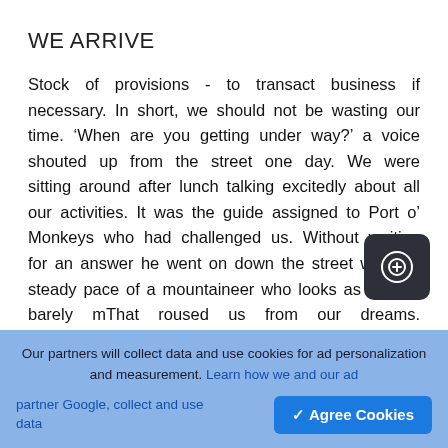WE ARRIVE
Stock of provisions - to transact business if necessary. In short, we should not be wasting our time. ‘When are you getting under way?’ a voice shouted up from the street one day. We were sitting around after lunch talking excitedly about all our activities. It was the guide assigned to Port o’ Monkeys who had challenged us. Without waiting for an answer he went on down the street with the steady pace of a mountaineer who looks as if he is barely m… That roused us from our dreams. Before … taken even the first steps, we were slipping toward disaster yes, toward giving up. For to devote a single minute, to satisfying, idle, curiosity, amounted, to
Our partners will collect data and use cookies for ad personalization and measurement. Learn how we and our ad partner Google, collect and use data
✓ Agree Cookies